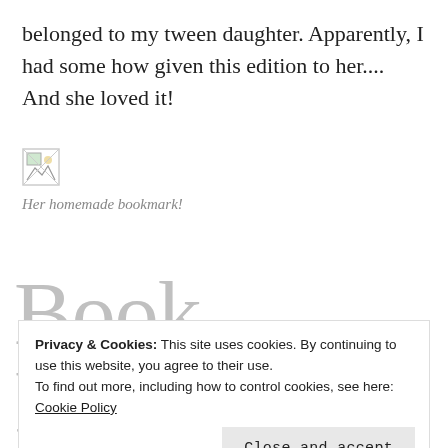belonged to my tween daughter. Apparently, I had some how given this edition to her.... And she loved it!
[Figure (photo): Small broken/placeholder image icon representing a photo of a homemade bookmark]
Her homemade bookmark!
Book Review
Privacy & Cookies: This site uses cookies. By continuing to use this website, you agree to their use.
To find out more, including how to control cookies, see here: Cookie Policy